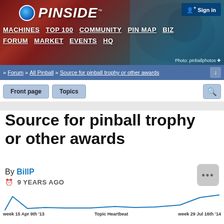[Figure (screenshot): Pinside website banner with logo, navigation menu (MACHINES TOP 100 COMMUNITY PIN MAP BIZ, FORUM MARKET EVENTS HQ), Sign in button, and pinball machine photo background. Photo credit: pinballphotos]
» Forum » All Pinball » Source for pinball trophy or other awards
Source for pinball trophy or other awards
By BillP
9 YEARS AGO
[Figure (line-chart): Line chart showing topic activity over time from week 15 Apr 9th '13 to week 29 Jul 16th '14. The line starts high on the left, drops sharply, stays low in the middle, rises slightly, then trends upward toward the right.]
week 15 Apr 9th '13   Topic Heartbeat   week 29 Jul 16th '14